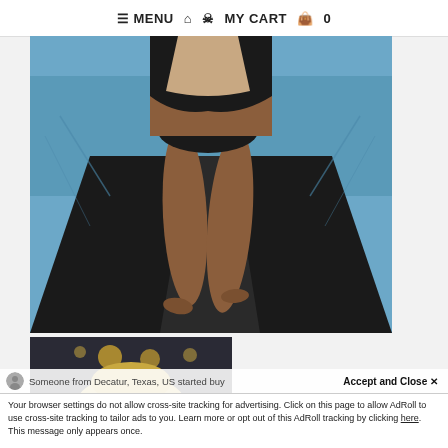≡ MENU  🏠  👤  MY CART  🛍  0
[Figure (photo): Fashion runway photo showing model's legs walking on a black runway with a pool in the background. Model wears a black and beige swimsuit.]
[Figure (photo): Partial photo of a person with blonde hair, dimly lit background with bokeh lights.]
Someone from Decatur, Texas, US started buy
Accept and Close ✕
Your browser settings do not allow cross-site tracking for advertising. Click on this page to allow AdRoll to use cross-site tracking to tailor ads to you. Learn more or opt out of this AdRoll tracking by clicking here. This message only appears once.